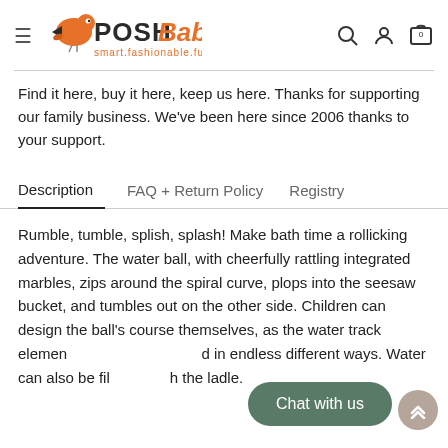PoshBaby smart.fashionable.fun
Find it here, buy it here, keep us here. Thanks for supporting our family business. We’ve been here since 2006 thanks to your support.
Description | FAQ + Return Policy | Registry
Rumble, tumble, splish, splash! Make bath time a rollicking adventure. The water ball, with cheerfully rattling integrated marbles, zips around the spiral curve, plops into the seesaw bucket, and tumbles out on the other side. Children can design the ball’s course themselves, as the water track elements can be combined in endless different ways. Water can also be filled in using the ladle.